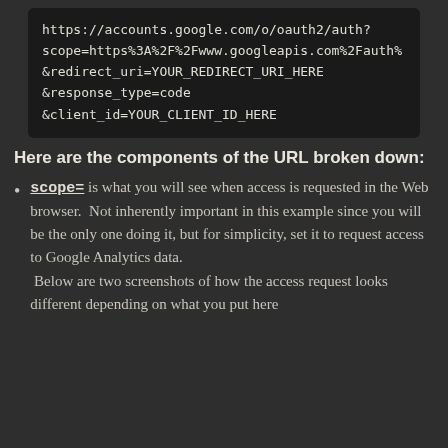[Figure (screenshot): Dark code block showing a Google OAuth2 URL with parameters: scope, redirect_uri, response_type, client_id]
Here are the components of the URL broken down:
scope= is what you will see when access is requested in the Web browser.  Not inherently important in this example since you will be the only one doing it, but for simplicity, set it to request access to Google Analytics data.  Below are two screenshots of how the access request looks different depending on what you put here